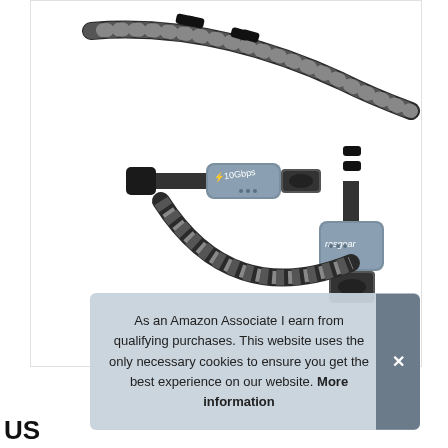[Figure (photo): A braided USB-C to USB-C cable with one straight connector (labeled '10Gbps') and one right-angle connector (labeled 'rasgear'). The cable has a black and white braided sleeve with black strain relief clips.]
As an Amazon Associate I earn from qualifying purchases. This website uses the only necessary cookies to ensure you get the best experience on our website. More information
US